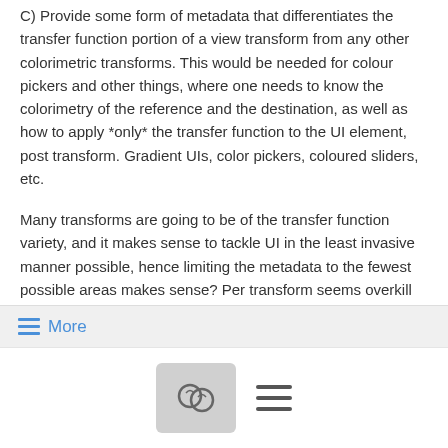C) Provide some form of metadata that differentiates the transfer function portion of a view transform from any other colorimetric transforms. This would be needed for colour pickers and other things, where one needs to know the colorimetry of the reference and the destination, as well as how to apply *only* the transfer function to the UI element, post transform. Gradient UIs, color pickers, coloured sliders, etc.
Many transforms are going to be of the transfer function variety, and it makes sense to tackle UI in the least invasive manner possible, hence limiting the metadata to the fewest possible areas makes sense? Per transform seems overkill unless a sane metadata structure can be arrived at that wraps up the needs.
With respect,
TJS
≡ More